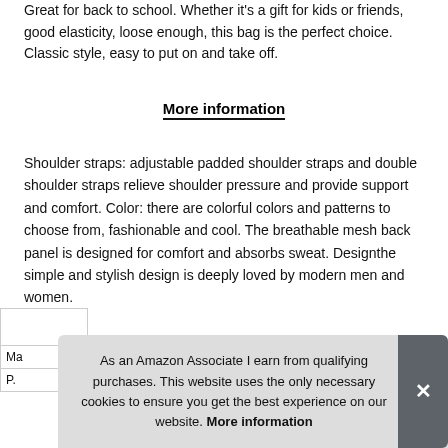Great for back to school. Whether it's a gift for kids or friends, good elasticity, loose enough, this bag is the perfect choice. Classic style, easy to put on and take off.
More information
Shoulder straps: adjustable padded shoulder straps and double shoulder straps relieve shoulder pressure and provide support and comfort. Color: there are colorful colors and patterns to choose from, fashionable and cool. The breathable mesh back panel is designed for comfort and absorbs sweat. Designthe simple and stylish design is deeply loved by modern men and women.
| Ma |
| P. |
As an Amazon Associate I earn from qualifying purchases. This website uses the only necessary cookies to ensure you get the best experience on our website. More information